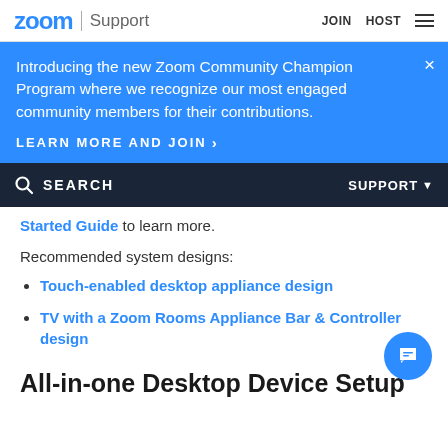zoom | Support    JOIN  HOST
Introducing the new Zoom Community Champion Program where we recognize our most engaged community members for their contributions.
LEARN MORE AND JOIN >
SEARCH    SUPPORT
Started Guide to learn more.
Recommended system designs:
Touch-enabled desktop appliance design
TV with a Zoom Rooms Appliance Bar & Controller design
All-in-one Desktop Device Setup